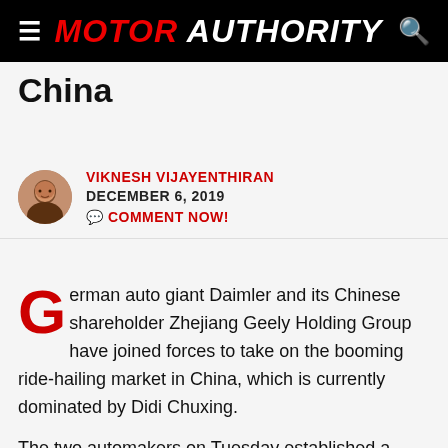MOTOR AUTHORITY
China
VIKNESH VIJAYENTHIRAN
DECEMBER 6, 2019
💬 COMMENT NOW!
German auto giant Daimler and its Chinese shareholder Zhejiang Geely Holding Group have joined forces to take on the booming ride-hailing market in China, which is currently dominated by Didi Chuxing.
The two automakers on Tuesday established a 50:50 joint venture to offer various mobility services, starting with a premium ride-hailing